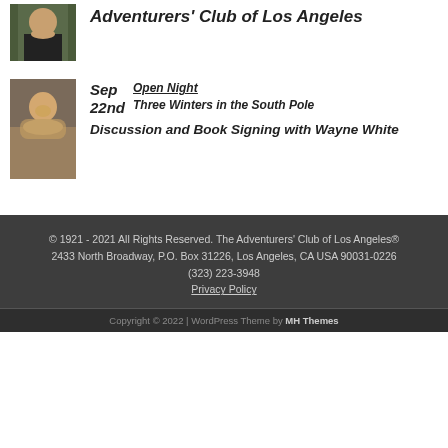[Figure (photo): Photo of a person in dark shirt against decorative background]
Adventurers' Club of Los Angeles
[Figure (photo): Photo of a person in fur coat]
Sep 22nd
Open Night
Three Winters in the South Pole Discussion and Book Signing with Wayne White
© 1921 - 2021 All Rights Reserved. The Adventurers' Club of Los Angeles®
2433 North Broadway, P.O. Box 31226, Los Angeles, CA USA 90031-0226
(323) 223-3948
Privacy Policy
Copyright © 2022 | WordPress Theme by MH Themes